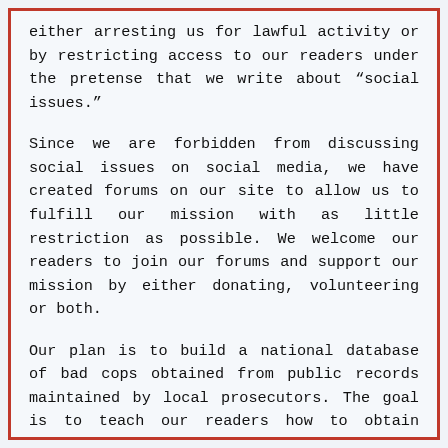either arresting us for lawful activity or by restricting access to our readers under the pretense that we write about “social issues.”
Since we are forbidden from discussing social issues on social media, we have created forums on our site to allow us to fulfill our mission with as little restriction as possible. We welcome our readers to join our forums and support our mission by either donating, volunteering or both.
Our plan is to build a national database of bad cops obtained from public records maintained by local prosecutors. The goal is to teach our readers how to obtain these lists to ensure we cover every city, county and state in the country.
After all, the government has made it clear it will not police the police so the role falls upon us.